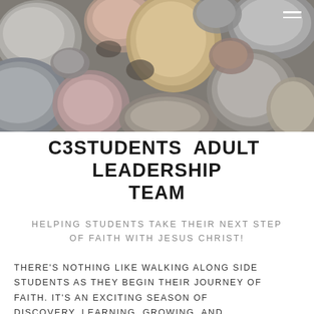[Figure (photo): Close-up photo of smooth river stones/pebbles in various shades of gray, beige, brown, and mauve, filling the entire header area.]
C3STUDENTS ADULT LEADERSHIP TEAM
HELPING STUDENTS TAKE THEIR NEXT STEP OF FAITH WITH JESUS CHRIST!
THERE'S NOTHING LIKE WALKING ALONG SIDE STUDENTS AS THEY BEGIN THEIR JOURNEY OF FAITH. IT'S AN EXCITING SEASON OF DISCOVERY, LEARNING, GROWING, AND POURING AND I BELIEVE THE BEST PART...